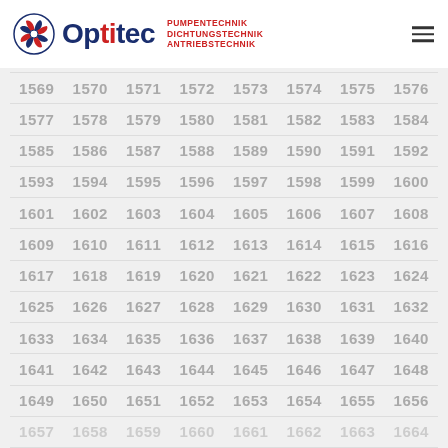Optitec — PUMPENTECHNIK DICHTUNGSTECHNIK ANTRIEBSTECHNIK
| 1569 | 1570 | 1571 | 1572 | 1573 | 1574 | 1575 | 1576 |
| 1577 | 1578 | 1579 | 1580 | 1581 | 1582 | 1583 | 1584 |
| 1585 | 1586 | 1587 | 1588 | 1589 | 1590 | 1591 | 1592 |
| 1593 | 1594 | 1595 | 1596 | 1597 | 1598 | 1599 | 1600 |
| 1601 | 1602 | 1603 | 1604 | 1605 | 1606 | 1607 | 1608 |
| 1609 | 1610 | 1611 | 1612 | 1613 | 1614 | 1615 | 1616 |
| 1617 | 1618 | 1619 | 1620 | 1621 | 1622 | 1623 | 1624 |
| 1625 | 1626 | 1627 | 1628 | 1629 | 1630 | 1631 | 1632 |
| 1633 | 1634 | 1635 | 1636 | 1637 | 1638 | 1639 | 1640 |
| 1641 | 1642 | 1643 | 1644 | 1645 | 1646 | 1647 | 1648 |
| 1649 | 1650 | 1651 | 1652 | 1653 | 1654 | 1655 | 1656 |
| 1657 | 1658 | 1659 | 1660 | 1661 | 1662 | 1663 | 1664 |